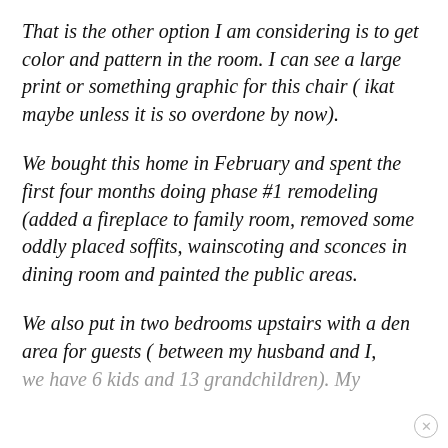That is the other option I am considering is to get color and pattern in the room. I can see a large print or something graphic for this chair ( ikat maybe unless it is so overdone by now).
We bought this home in February and spent the first four months doing phase #1 remodeling (added a fireplace to family room, removed some oddly placed soffits, wainscoting and sconces in dining room and painted the public areas.
We also put in two bedrooms upstairs with a den area for guests ( between my husband and I, we have 6 kids and 13 grandchildren). My